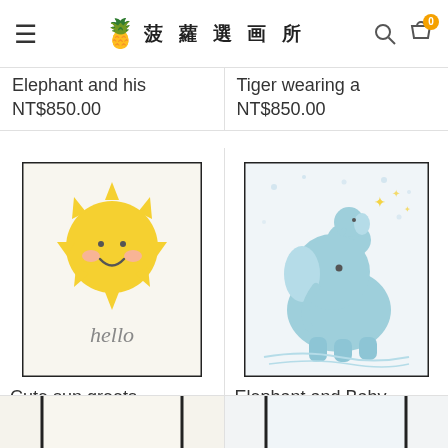菠蘿選画所
Elephant and his
NT$850.00
Tiger wearing a
NT$850.00
[Figure (illustration): Cute sun illustration with hello text in a black-bordered frame]
[Figure (illustration): Elephant and baby illustration in blue tones, in a black-bordered frame]
Cute sun greets
NT$850.00
Elephant and Baby
NT$850.00
[Figure (illustration): Partial artwork visible at bottom left]
[Figure (illustration): Partial artwork visible at bottom right]